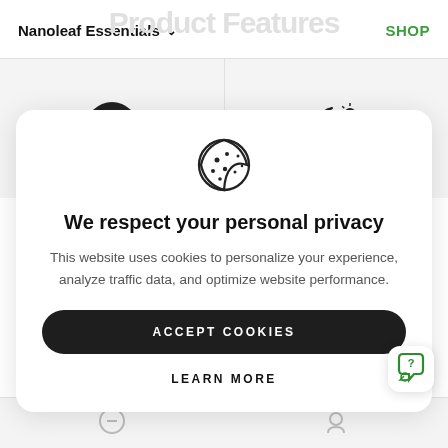Nanoleaf Essentials ∨   Product Features   SHOP
[Figure (screenshot): Cookie consent modal overlay on Nanoleaf website with cookie icon, privacy text, accept cookies button, and learn more link]
We respect your personal privacy
This website uses cookies to personalize your experience, analyze traffic data, and optimize website performance.
ACCEPT COOKIES
LEARN MORE